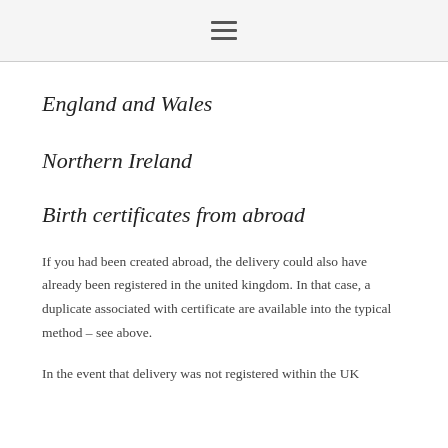☰
England and Wales
Northern Ireland
Birth certificates from abroad
If you had been created abroad, the delivery could also have already been registered in the united kingdom. In that case, a duplicate associated with certificate are available into the typical method – see above.
In the event that delivery was not registered within the UK